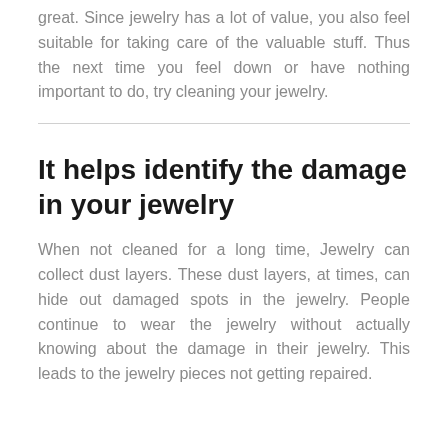great. Since jewelry has a lot of value, you also feel suitable for taking care of the valuable stuff. Thus the next time you feel down or have nothing important to do, try cleaning your jewelry.
It helps identify the damage in your jewelry
When not cleaned for a long time, Jewelry can collect dust layers. These dust layers, at times, can hide out damaged spots in the jewelry. People continue to wear the jewelry without actually knowing about the damage in their jewelry. This leads to the jewelry pieces not getting repaired.